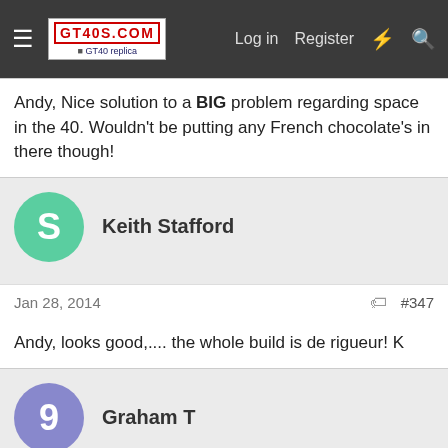GT40s.com — Log in  Register
Andy, Nice solution to a BIG problem regarding space in the 40. Wouldn't be putting any French chocolate's in there though!
Keith Stafford
Jan 28, 2014  #347
Andy, looks good,.... the whole build is de rigueur! K
Graham T
Jan 28, 2014  #348
Andy,
you will be very popular with everyone coming to you for a hot